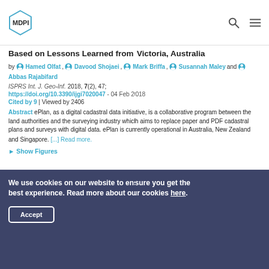[Figure (logo): MDPI hexagonal logo]
Based on Lessons Learned from Victoria, Australia
by Hamed Olfat, Davood Shojaei, Mark Briffa, Susannah Maley and Abbas Rajabifard
ISPRS Int. J. Geo-Inf. 2018, 7(2), 47; https://doi.org/10.3390/ijgi7020047 - 04 Feb 2018
Cited by 9 | Viewed by 2406
Abstract ePlan, as a digital cadastral data initiative, is a collaborative program between the land authorities and the surveying industry which aims to replace paper and PDF cadastral plans and surveys with digital data. ePlan is currently operational in Australia, New Zealand and Singapore. [...] Read more.
► Show Figures
We use cookies on our website to ensure you get the best experience. Read more about our cookies here.
Accept